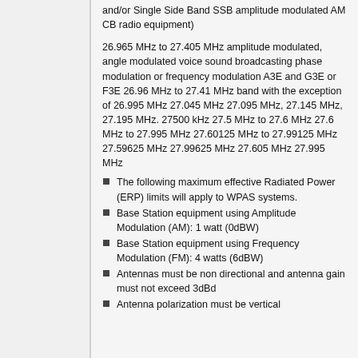and/or Single Side Band SSB amplitude modulated AM CB radio equipment)
26.965 MHz to 27.405 MHz amplitude modulated, angle modulated voice sound broadcasting phase modulation or frequency modulation A3E and G3E or F3E 26.96 MHz to 27.41 MHz band with the exception of 26.995 MHz 27.045 MHz 27.095 MHz, 27.145 MHz, 27.195 MHz. 27500 kHz 27.5 MHz to 27.6 MHz 27.6 MHz to 27.995 MHz 27.60125 MHz to 27.99125 MHz 27.59625 MHz 27.99625 MHz 27.605 MHz 27.995 MHz
The following maximum effective Radiated Power (ERP) limits will apply to WPAS systems.
Base Station equipment using Amplitude Modulation (AM): 1 watt (0dBW)
Base Station equipment using Frequency Modulation (FM): 4 watts (6dBW)
Antennas must be non directional and antenna gain must not exceed 3dBd
Antenna polarization must be vertical